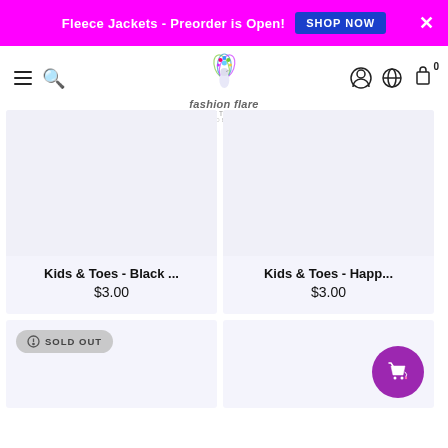Fleece Jackets - Preorder is Open! SHOP NOW
[Figure (logo): Fashion Flare Boutique logo with peacock feather design]
Kids & Toes - Black ...
$3.00
Kids & Toes - Happ...
$3.00
SOLD OUT